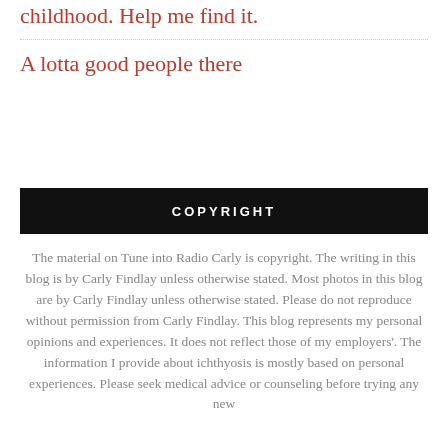childhood. Help me find it.
A lotta good people there
COPYRIGHT
The material on Tune into Radio Carly is copyright. The writing in this blog is by Carly Findlay unless otherwise stated. Most photos in this blog are by Carly Findlay unless otherwise stated. Please do not reproduce without permission from Carly Findlay. This blog represents my personal opinions and experiences. It does not reflect those of my employers'. The information I provide about ichthyosis is mostly based on personal experiences. Please seek medical advice or counseling before trying any new